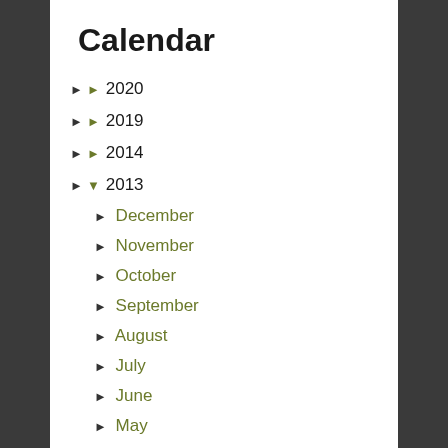Calendar
► 2020
► 2019
► 2014
▼ 2013
► December
► November
► October
► September
► August
► July
► June
► May
► April
► March